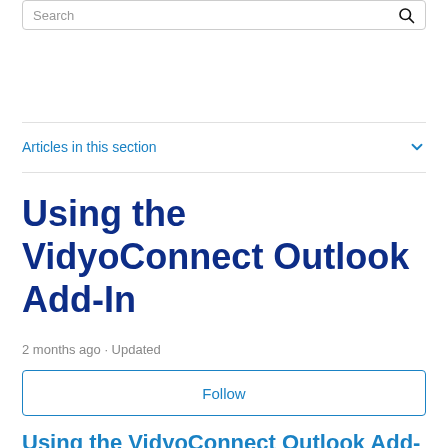Search
Articles in this section
Using the VidyoConnect Outlook Add-In
2 months ago · Updated
Follow
Using the VidyoConnect Outlook Add-